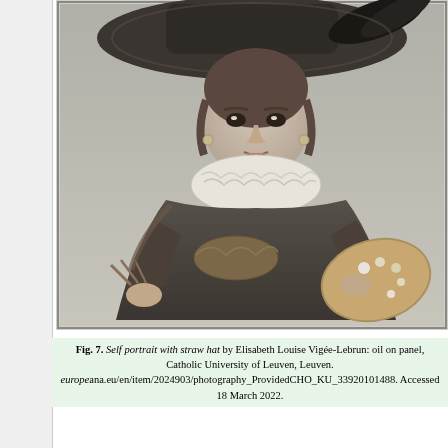[Figure (photo): Black and white photographic reproduction of a self-portrait painting showing a woman wearing a wide-brimmed straw hat with feathers, a ruffled white collar, and dark dress, holding a painter's palette and brushes. The subject is Elisabeth Louise Vigée-Lebrun.]
Fig. 7. Self portrait with straw hat by Elisabeth Louise Vigée-Lebrun: oil on panel, Catholic University of Leuven, Leuven. europeana.eu/en/item/2024903/photography_ProvidedCHO_KU_33920101488. Accessed 18 March 2022.